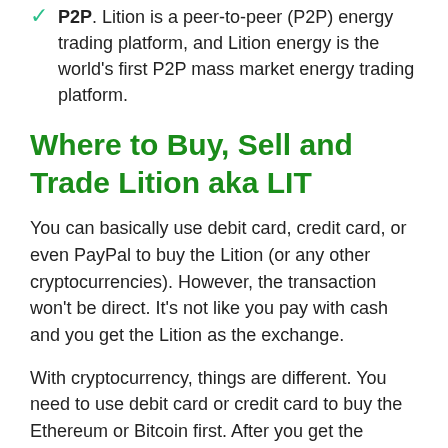P2P. Lition is a peer-to-peer (P2P) energy trading platform, and Lition energy is the world's first P2P mass market energy trading platform.
Where to Buy, Sell and Trade Lition aka LIT
You can basically use debit card, credit card, or even PayPal to buy the Lition (or any other cryptocurrencies). However, the transaction won't be direct. It's not like you pay with cash and you get the Lition as the exchange.
With cryptocurrency, things are different. You need to use debit card or credit card to buy the Ethereum or Bitcoin first. After you get the Ethereum or Bitcoin, you can convert it to Lition. It takes several stages and processes.